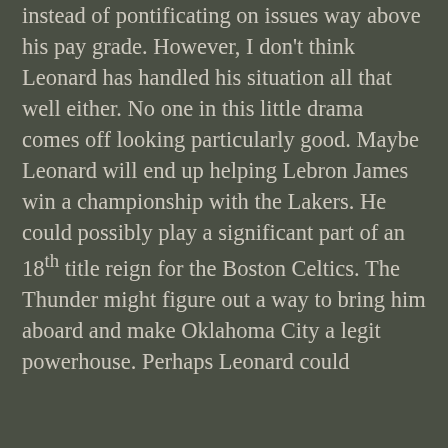instead of pontificating on issues way above his pay grade. However, I don't think Leonard has handled his situation all that well either. No one in this little drama comes off looking particularly good. Maybe Leonard will end up helping Lebron James win a championship with the Lakers. He could possibly play a significant part of an 18th title reign for the Boston Celtics. The Thunder might figure out a way to bring him aboard and make Oklahoma City a legit powerhouse. Perhaps Leonard could
[Figure (other): DuckDuckGo advertisement banner with orange background, showing 'Search, browse, and email with more privacy. All in One Free App' text and a smartphone displaying the DuckDuckGo app]